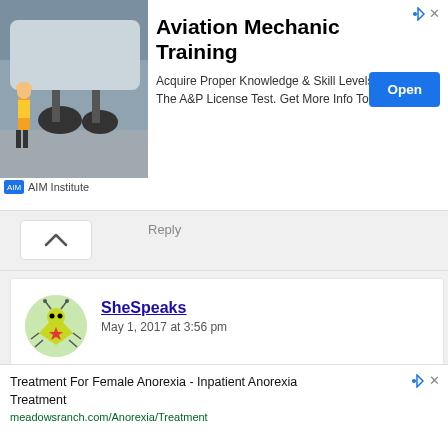[Figure (screenshot): Advertisement banner for AIM Institute Aviation Mechanic Training with aircraft landing gear photo, Open button, and text about A&P License Test.]
Reply
SheSpeaks
May 1, 2017 at 3:56 pm

We love how Rubbermaid FreshWorks has saved you time and money – great article! #freshworksfreshness #ad

Reply
[Figure (screenshot): Bottom advertisement: Treatment For Female Anorexia - Inpatient Anorexia Treatment. meadowsranch.com/Anorexia/Treatment]